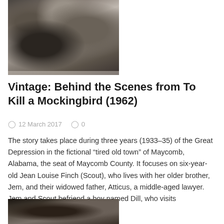[Figure (photo): Black and white behind-the-scenes photo from To Kill a Mockingbird (1962) showing several people including children sitting on steps]
Vintage: Behind the Scenes from To Kill a Mockingbird (1962)
12 March 2017   0
The story takes place during three years (1933–35) of the Great Depression in the fictional “tired old town” of Maycomb, Alabama, the seat of Maycomb County. It focuses on six-year-old Jean Louise Finch (Scout), who lives with her older brother, Jem, and their widowed father, Atticus, a middle-aged lawyer. Jem and Scout befriend a boy named Dill, who visits Maycomb…
[Figure (photo): Black and white photo, partially visible at bottom of page, appears to show a person's face]